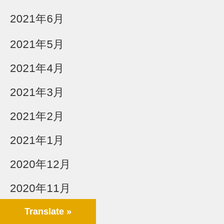2021年6月
2021年5月
2021年4月
2021年3月
2021年2月
2021年1月
2020年12月
2020年11月
2020年10月
2020年9月
Translate »